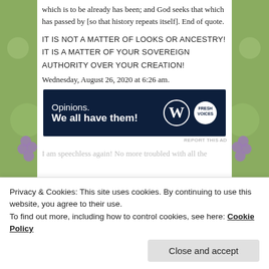which is to be already has been; and God seeks that which has passed by [so that history repeats itself]. End of quote.
IT IS NOT A MATTER OF LOOKS OR ANCESTRY! IT IS A MATTER OF YOUR SOVEREIGN AUTHORITY OVER YOUR CREATION!
Wednesday, August 26, 2020 at 6:26 am.
[Figure (advertisement): WordPress ad banner with dark navy background. Text reads 'Opinions. We all have them!' with WordPress W logo and Fresh Voices circular logo on the right.]
REPORT THIS AD
I am speechless again! No more troubled with all the
Privacy & Cookies: This site uses cookies. By continuing to use this website, you agree to their use.
To find out more, including how to control cookies, see here: Cookie Policy
Close and accept